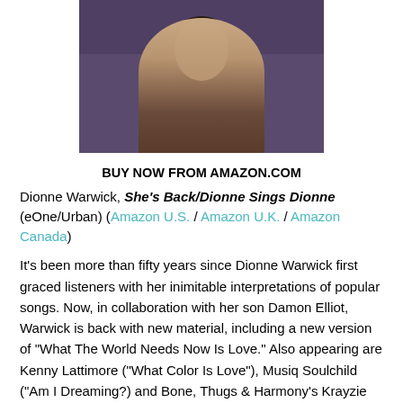[Figure (photo): Photo of Dionne Warwick wearing a purple jacket and silver necklace, cropped to show head and upper shoulders against a dark background]
BUY NOW FROM AMAZON.COM
Dionne Warwick, She's Back/Dionne Sings Dionne (eOne/Urban) (Amazon U.S. / Amazon U.K. / Amazon Canada)
It's been more than fifty years since Dionne Warwick first graced listeners with her inimitable interpretations of popular songs. Now, in collaboration with her son Damon Elliot, Warwick is back with new material, including a new version of "What The World Needs Now Is Love." Also appearing are Kenny Lattimore ("What Color Is Love"), Musiq Soulchild ("Am I Dreaming?) and Bone, Thugs & Harmony's Krayzie Bone ("Déjà Vu"). In addition to the